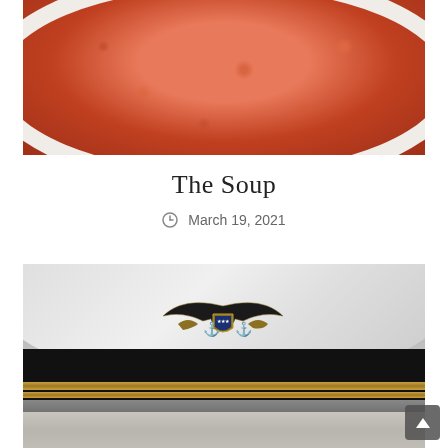[Figure (photo): Close-up photo of tomato soup in a white bowl, orange-red color with visible texture]
The Soup
March 19, 2021
[Figure (photo): Close-up photo of a US Navy officer's dress white cap with gold eagle and shield insignia on a black band with gold stripes, viewed from front against stone/concrete background]